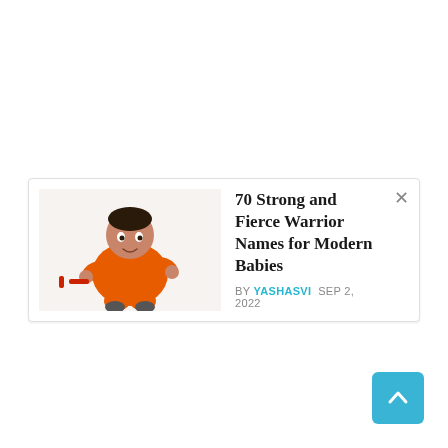[Figure (photo): Baby in orange outfit sitting on white background with red toy]
70 Strong and Fierce Warrior Names for Modern Babies
BY YASHASVI  SEP 2, 2022